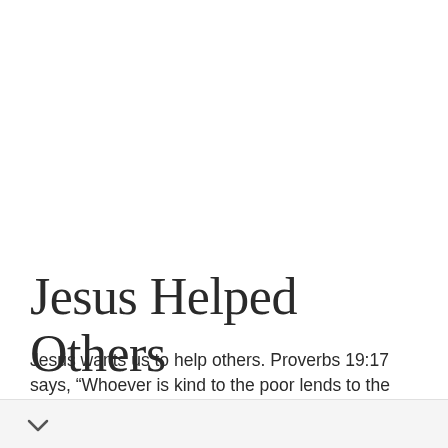Jesus Helped Others
Jesus wants us to help others. Proverbs 19:17 says, “Whoever is kind to the poor lends to the Lord, and He will reward them for what they have done.” Doing something to help those in need is its own rd. The verse also helps us understand that